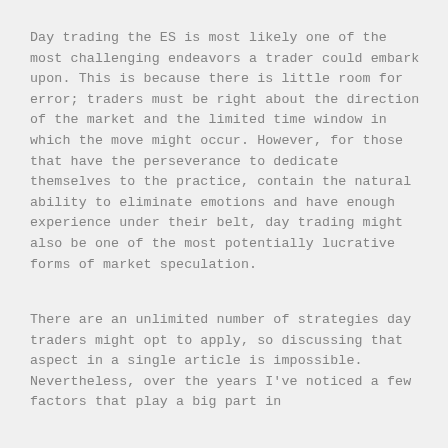Day trading the ES is most likely one of the most challenging endeavors a trader could embark upon. This is because there is little room for error; traders must be right about the direction of the market and the limited time window in which the move might occur. However, for those that have the perseverance to dedicate themselves to the practice, contain the natural ability to eliminate emotions and have enough experience under their belt, day trading might also be one of the most potentially lucrative forms of market speculation.
There are an unlimited number of strategies day traders might opt to apply, so discussing that aspect in a single article is impossible.  Nevertheless, over the years I've noticed a few factors that play a big part in